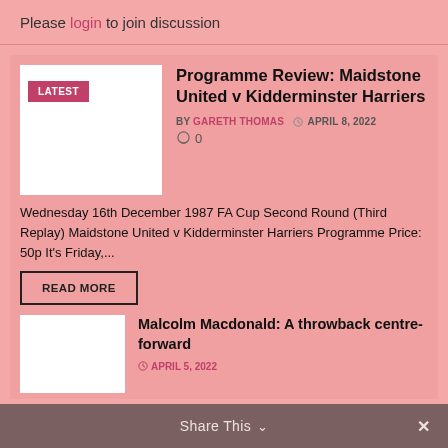Please login to join discussion
Programme Review: Maidstone United v Kidderminster Harriers
BY GARETH THOMAS  APRIL 8, 2022
0
Wednesday 16th December 1987 FA Cup Second Round (Third Replay) Maidstone United v Kidderminster Harriers Programme Price: 50p It's Friday,...
READ MORE
Malcolm Macdonald: A throwback centre-forward
APRIL 5, 2022
Share This